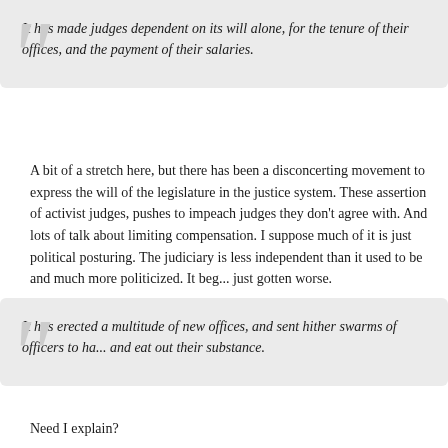It has made judges dependent on its will alone, for the tenure of their offices, and the payment of their salaries.
A bit of a stretch here, but there has been a disconcerting movement to express the will of the legislature in the justice system. These assertion of activist judges, pushes to impeach judges they don't agree with. And lots of talk about limiting compensation. I suppose much of it is just political posturing. The judiciary is less independent than it used to be and much more politicized. It began with Reagan and just gotten worse.
It has erected a multitude of new offices, and sent hither swarms of officers to harass our people, and eat out their substance.
Need I explain?
It has kept among us, in times of peace, standing armies without the consent of our legislatures.